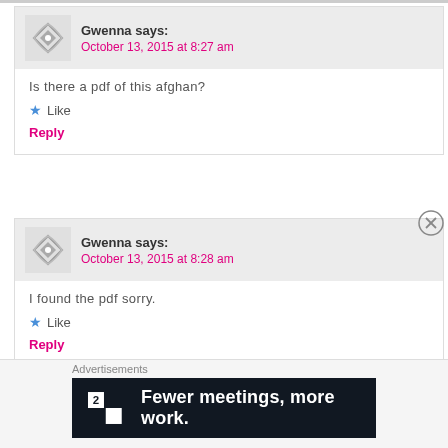Gwenna says: October 13, 2015 at 8:27 am
Is there a pdf of this afghan?
Like
Reply
Gwenna says: October 13, 2015 at 8:28 am
I found the pdf sorry.
Like
Reply
Advertisements
[Figure (infographic): Dark navy advertisement banner reading: square icon with '2' text, then 'Fewer meetings, more work.']